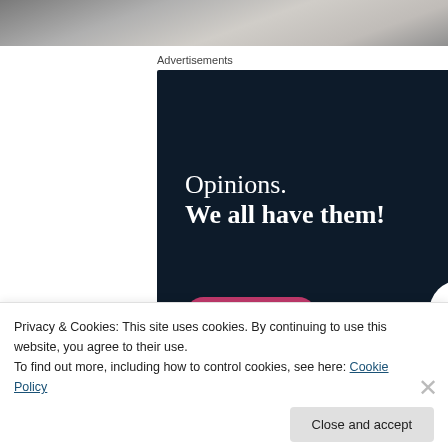[Figure (photo): Cropped photo strip at top of page showing a blurred/dark background]
Advertisements
[Figure (screenshot): Dark navy advertisement banner for CrowdSignal/WordPress. Text: 'Opinions. We all have them!' with a 'Start a survey' pink button and CrowdSignal logo in bottom right, WordPress logo in top right.]
Privacy & Cookies: This site uses cookies. By continuing to use this website, you agree to their use.
To find out more, including how to control cookies, see here: Cookie Policy
Close and accept